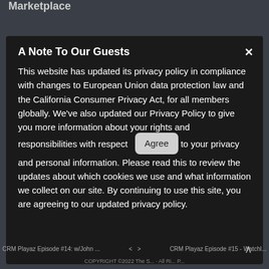Marketplace
RECENT POSTS
A Note To Our Guests
This website has updated its privacy policy in compliance with changes to European Union data protection law and the California Consumer Privacy Act, for all members globally. We've also updated our Privacy Policy to give you more information about your rights and responsibilities with respect to your privacy and personal information. Please read this to review the updates about which cookies we use and what information we collect on our site. By continuing to use this site, you are agreeing to our updated privacy policy.
CRM Playaz Episode #14: w/John ... < > CRM Playaz Episode #15 - Watchl...